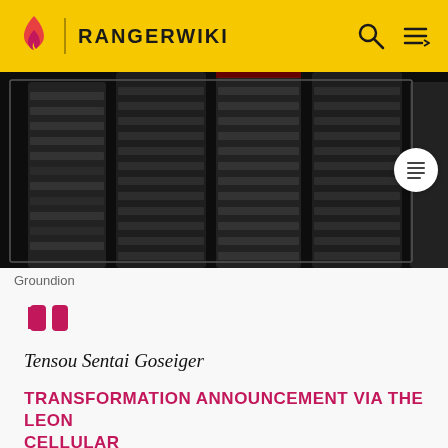RANGERWIKI
[Figure (photo): Close-up dark image of Groundion mechanical/gear components, dark metallic blocks, on black background with border frame]
Groundion
Tensou Sentai Goseiger
TRANSFORMATION ANNOUNCEMENT VIA THE LEON CELLULAR
Groundion Headder (グランディオンヘッダー, Gurandion Heddā): The Groundion Headder is Gosei Knight's true form. After